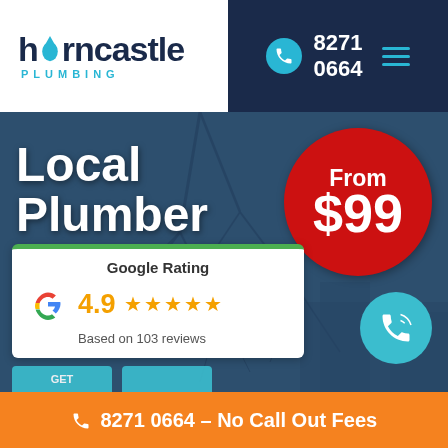[Figure (logo): Horncastle Plumbing logo with teal water drop and dark navy text]
8271 0664
Local Plumber Hectorville
[Figure (infographic): Red circle badge showing 'From $99']
[Figure (infographic): Google Rating card showing 4.9 stars based on 103 reviews]
8271 0664 – No Call Out Fees